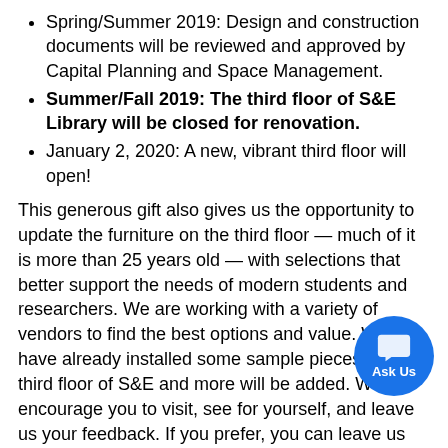Spring/Summer 2019: Design and construction documents will be reviewed and approved by Capital Planning and Space Management.
Summer/Fall 2019: The third floor of S&E Library will be closed for renovation.
January 2, 2020: A new, vibrant third floor will open!
This generous gift also gives us the opportunity to update the furniture on the third floor — much of it is more than 25 years old — with selections that better support the needs of modern students and researchers. We are working with a variety of vendors to find the best options and value. We have already installed some sample pieces on the third floor of S&E and more will be added. We encourage you to visit, see for yourself, and leave us your feedback. If you prefer, you can leave us feedback online.
In the spirit of transparency, the University Lib...